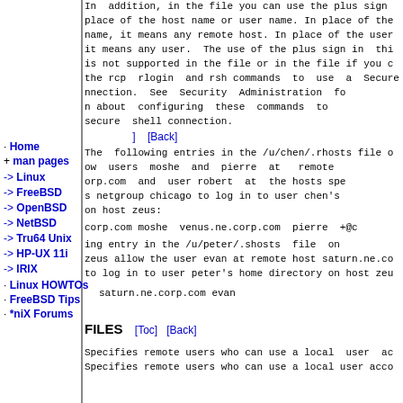In addition, in the file you can use the plus sign in place of the host name or user name. In place of the name, it means any remote host. In place of the user it means any user. The use of the plus sign in this is not supported in the file or in the file if you c the rcp, rlogin, and rsh commands to use a Secure nnection. See Security Administration fo n about configuring these commands to secure shell connection.
[ ] [Back]
The following entries in the /u/chen/.rhosts file o ow users moshe and pierre at remote orp.com and user robert at the hosts spe s netgroup chicago to log in to user chen's on host zeus:
corp.com moshe venus.ne.corp.com pierre +@c
ing entry in the /u/peter/.shosts file on zeus allow the user evan at remote host saturn.ne.co to log in to user peter's home directory on host zeu
saturn.ne.corp.com evan
FILES
[Toc] [Back]
Specifies remote users who can use a local user ac Specifies remote users who can use a local user acco